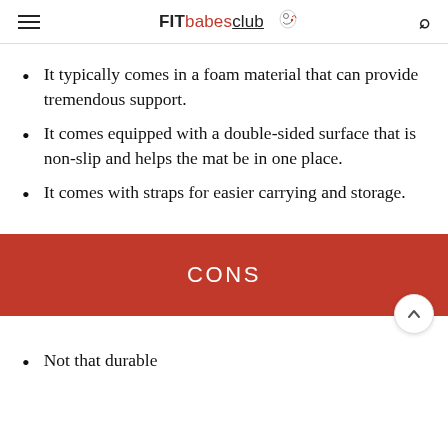FITbabesclub
It typically comes in a foam material that can provide tremendous support.
It comes equipped with a double-sided surface that is non-slip and helps the mat be in one place.
It comes with straps for easier carrying and storage.
CONS
Not that durable